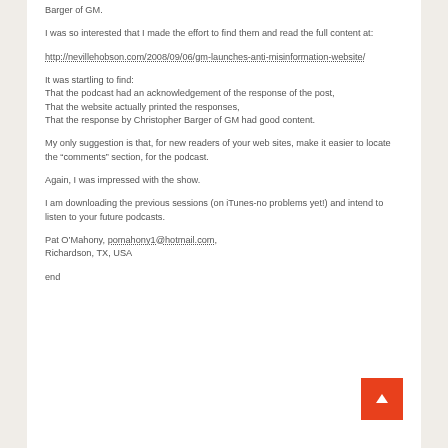Barger of GM.
I was so interested that I made the effort to find them and read the full content at:
http://nevillehobson.com/2008/09/06/gm-launches-anti-misinformation-website/
It was startling to find:
That the podcast had an acknowledgement of the response of the post,
That the website actually printed the responses,
That the response by Christopher Barger of GM had good content.
My only suggestion is that, for new readers of your web sites, make it easier to locate the “comments” section, for the podcast.
Again, I was impressed with the show.
I am downloading the previous sessions (on iTunes-no problems yet!) and intend to listen to your future podcasts.
Pat O’Mahony, pomahony1@hotmail.com,
Richardson, TX, USA
end